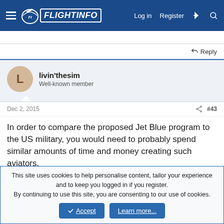FlightInfo — Log in | Register
Reply
livin'thesim
Well-known member
Dec 2, 2015  #43
In order to compare the proposed Jet Blue program to the US military, you would need to probably spend similar amounts of time and money creating such aviators.
Last edited: Dec 2, 2015
Reply
This site uses cookies to help personalise content, tailor your experience and to keep you logged in if you register.
By continuing to use this site, you are consenting to our use of cookies.
Accept | Learn more...